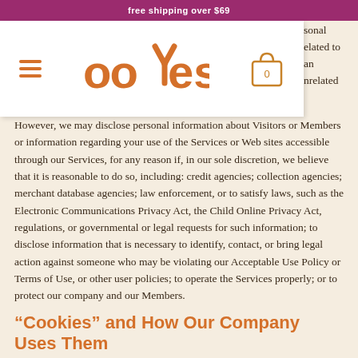free shipping over $69
[Figure (logo): ooYes brand logo in orange with hamburger menu icon and shopping cart icon showing 0 items]
sonal
elated to
an
nrelated
However, we may disclose personal information about Visitors or Members or information regarding your use of the Services or Web sites accessible through our Services, for any reason if, in our sole discretion, we believe that it is reasonable to do so, including: credit agencies; collection agencies; merchant database agencies; law enforcement, or to satisfy laws, such as the Electronic Communications Privacy Act, the Child Online Privacy Act, regulations, or governmental or legal requests for such information; to disclose information that is necessary to identify, contact, or bring legal action against someone who may be violating our Acceptable Use Policy or Terms of Use, or other user policies; to operate the Services properly; or to protect our company and our Members.
“Cookies” and How Our Company Uses Them
A “cookie” is a small data file that can be placed on your hard drive when you visit certain Web sites. Our company may use cookies to collect, store, and sometimes track information for statistical purposes to improve the products and services we provide and to manage our telecommunications networks.